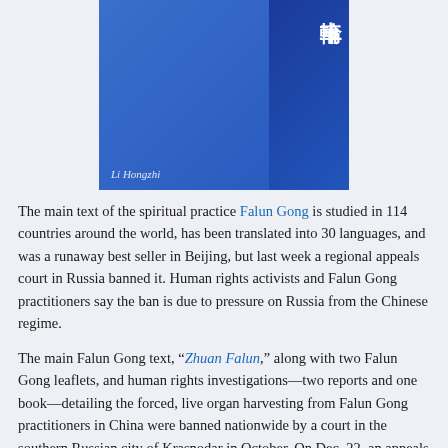[Figure (illustration): Book cover of Zhuan Falun by Li Hongzhi. Two-panel blue cover: left panel is medium blue with author name 'Li Hongzhi' in white italic at the bottom; right panel is darker blue with Chinese characters at top right.]
The main text of the spiritual practice Falun Gong is studied in 114 countries around the world, has been translated into 30 languages, and was a runaway best seller in Beijing, but last week a regional appeals court in Russia banned it. Human rights activists and Falun Gong practitioners say the ban is due to pressure on Russia from the Chinese regime.
The main Falun Gong text, “Zhuan Falun,” along with two Falun Gong leaflets, and human rights investigations—two reports and one book—detailing the forced, live organ harvesting from Falun Gong practitioners in China were banned nationwide by a court in the southern Russian city of Krasnodar in October. On Dec. 22, an appeals court decision upheld the ban...